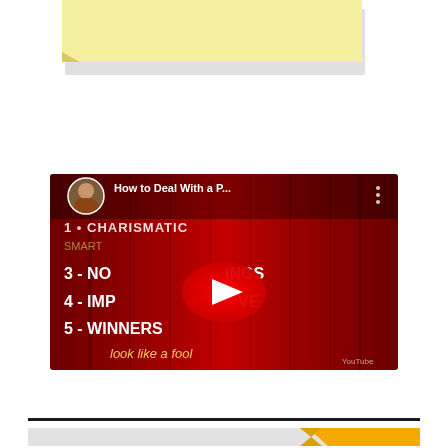[Figure (other): Yellow sticky note partially visible at top of page]
[Figure (screenshot): YouTube video thumbnail showing 'How to Deal With a P...' video. Background shows a red curtain with text listing '1 - CHARISMATIC', '3 - NO [something]INGS', '4 - IMP[something]VE', '5 - WINNERS', 'look like a fool'. Has YouTube play button overlay and a circular avatar of a male presenter in top left.]
[Figure (other): Horizontal dark divider line near bottom of page, followed by partial gray and orange banner at very bottom]